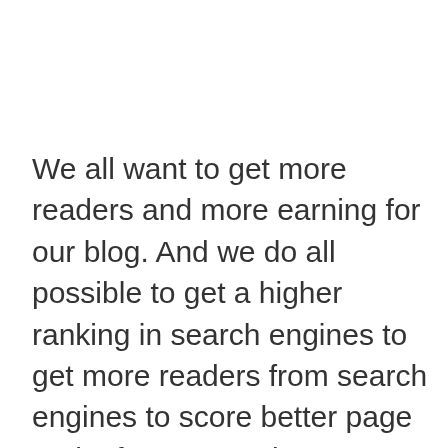We all want to get more readers and more earning for our blog. And we do all possible to get a higher ranking in search engines to get more readers from search engines to score better page rank. If you are using Blogger, then there is very good news because Google Blogger is now enriched with new SEO (Search Engine Optimization) features. Only a few